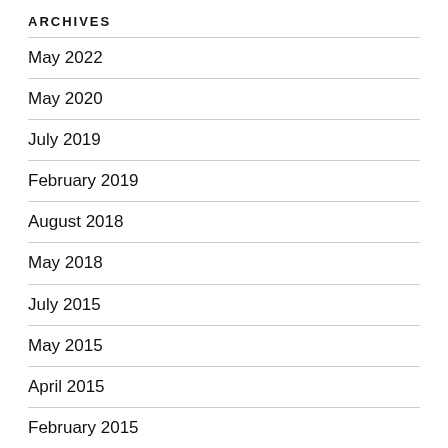ARCHIVES
May 2022
May 2020
July 2019
February 2019
August 2018
May 2018
July 2015
May 2015
April 2015
February 2015